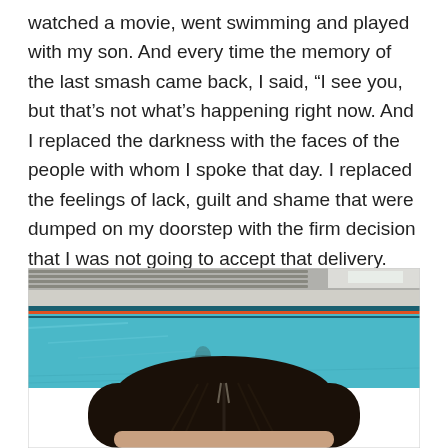watched a movie, went swimming and played with my son. And every time the memory of the last smash came back, I said, “I see you, but that’s not what’s happening right now. And I replaced the darkness with the faces of the people with whom I spoke that day. I replaced the feelings of lack, guilt and shame that were dumped on my doorstep with the firm decision that I was not going to accept that delivery. And days later, I’ve extended compassion to the light bulb tester, a compassion firmly lined with a boundary.
[Figure (photo): A person with wet dark hair photographed from above/front at a swimming pool. The pool with blue water and lane dividers is visible in the background.]